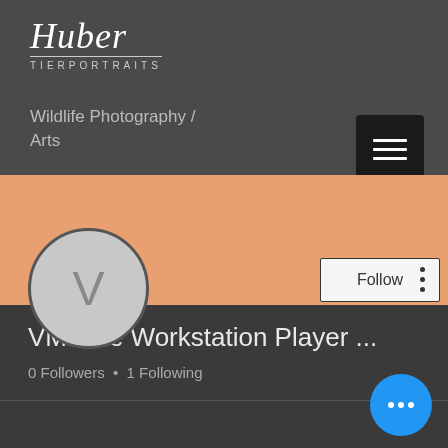[Figure (screenshot): Screenshot of a mobile app showing a profile page for 'Huber Tierportraits' wildlife photography website. Dark background header with cursive logo and TIERPORTRAITS text, orange banner, circular avatar with letter V, Follow button, username 'VMware Workstation Player ...' and '0 Followers • 1 Following' stats, blue FAB button.]
Huber TIERPORTRAITS
Wildlife Photography / Arts
VMware Workstation Player ...
0 Followers • 1 Following